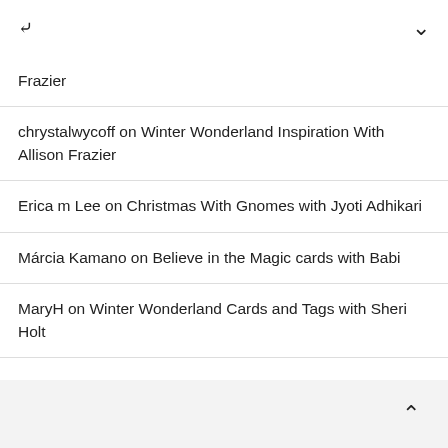Frazier
chrystalwycoff on Winter Wonderland Inspiration With Allison Frazier
Erica m Lee on Christmas With Gnomes with Jyoti Adhikari
Márcia Kamano on Believe in the Magic cards with Babi
MaryH on Winter Wonderland Cards and Tags with Sheri Holt